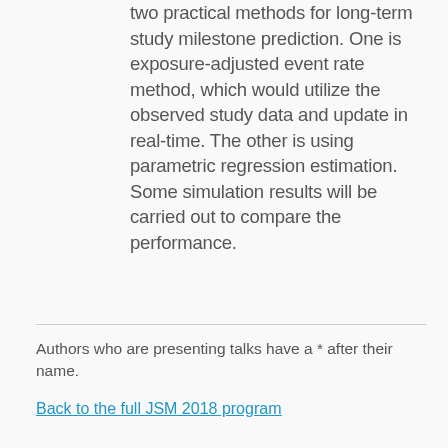two practical methods for long-term study milestone prediction. One is exposure-adjusted event rate method, which would utilize the observed study data and update in real-time. The other is using parametric regression estimation. Some simulation results will be carried out to compare the performance.
Authors who are presenting talks have a * after their name.
Back to the full JSM 2018 program